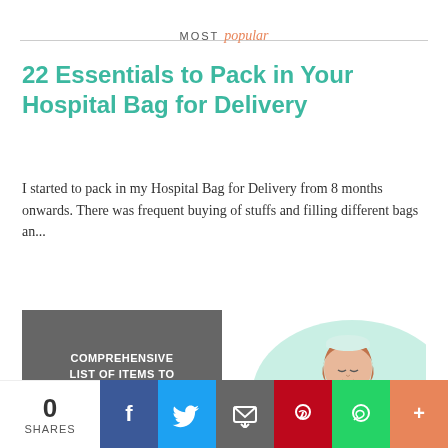MOST popular
22 Essentials to Pack in Your Hospital Bag for Delivery
I started to pack in my Hospital Bag for Delivery from 8 months onwards. There was frequent buying of stuffs and filling different bags an...
[Figure (illustration): A dark grey book cover with text 'COMPREHENSIVE LIST OF ITEMS TO PACK FOR BABY'S DELIVERY' alongside an illustration of a nurse or doctor in green scrubs holding a newborn baby, with 'Spices n Secrets' watermark]
0 SHARES | Facebook | Twitter | Email | Pinterest | WhatsApp | More